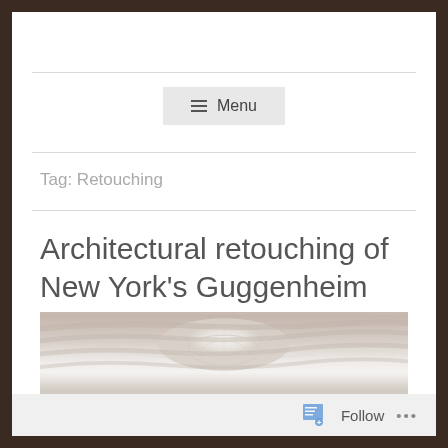Menu
Tag: Retouching
Architectural retouching of New York's Guggenheim Museum interior.
[Figure (photo): Interior view of the Guggenheim Museum showing the spiral rotunda and skylight from below]
Follow ...